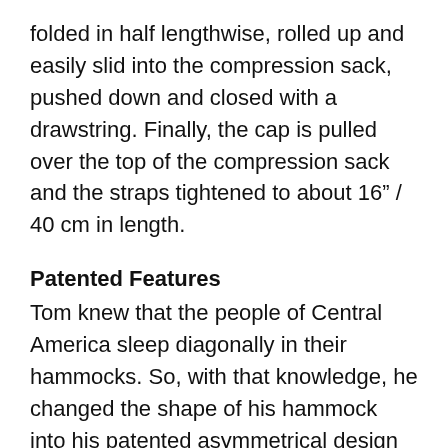folded in half lengthwise, rolled up and easily slid into the compression sack, pushed down and closed with a drawstring. Finally, the cap is pulled over the top of the compression sack and the straps tightened to about 16" / 40 cm in length.
Patented Features
Tom knew that the people of Central America sleep diagonally in their hammocks. So, with that knowledge, he changed the shape of his hammock into his patented asymmetrical design which lets you lie level on the diagonal with excellent support under your lower back and knees.
Because tree spacing is always different, the curve of a hammock is always different.  The